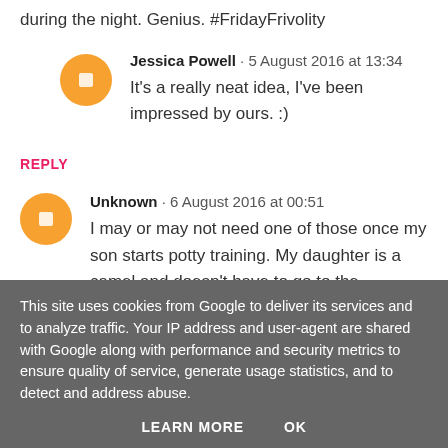during the night. Genius. #FridayFrivolity
Jessica Powell · 5 August 2016 at 13:34
It's a really neat idea, I've been impressed by ours. :)
REPLY
Unknown · 6 August 2016 at 00:51
I may or may not need one of those once my son starts potty training. My daughter is a camel and doesn't have to go to the bathroom during the night. What a great product. Those were such interesting facts - Sir Thomas Crapper - HAHU
This site uses cookies from Google to deliver its services and to analyze traffic. Your IP address and user-agent are shared with Google along with performance and security metrics to ensure quality of service, generate usage statistics, and to detect and address abuse.
LEARN MORE  OK